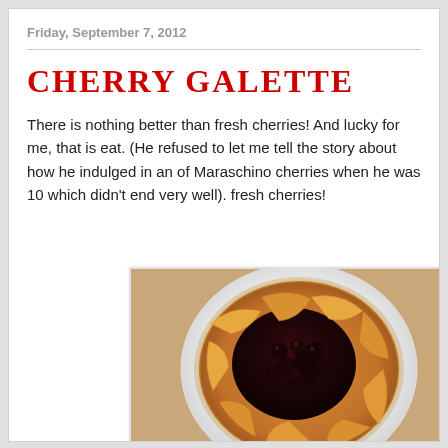Friday, September 7, 2012
Cherry Galette
There is nothing better than fresh cherries! And lucky for me, that is eat. (He refused to let me tell the story about how he indulged in an of Maraschino cherries when he was 10 which didn't end very well). fresh cherries!
[Figure (photo): Overhead photo of a cherry galette (open-faced rustic cherry pie) in a white ceramic dish on a brown paper surface. The galette has a golden-brown folded pastry crust with dark, deep purple-black cherries visible in the center.]